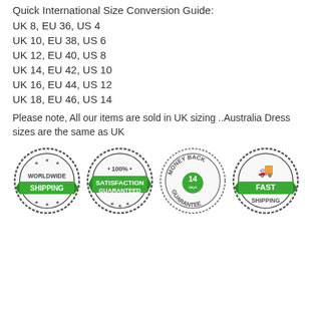Quick International Size Conversion Guide:
UK 8, EU 36, US 4
UK 10, EU 38, US 6
UK 12, EU 40, US 8
UK 14, EU 42, US 10
UK 16, EU 44, US 12
UK 18, EU 46, US 14
Please note, All our items are sold in UK sizing ..Australia Dress sizes are the same as UK
[Figure (infographic): Four circular badge icons: Worldwide Shipping, 100% Satisfaction Guaranteed, Money Back 14 days Guarantee, Fast Shipping]